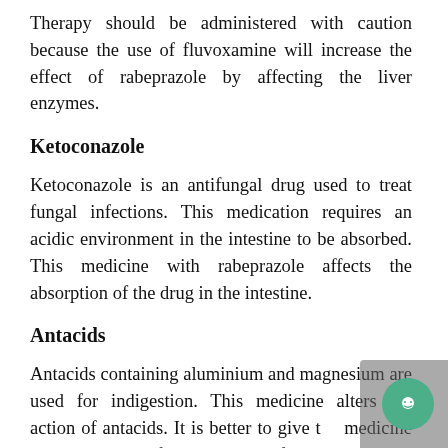Therapy should be administered with caution because the use of fluvoxamine will increase the effect of rabeprazole by affecting the liver enzymes.
Ketoconazole
Ketoconazole is an antifungal drug used to treat fungal infections. This medication requires an acidic environment in the intestine to be absorbed. This medicine with rabeprazole affects the absorption of the drug in the intestine.
Antacids
Antacids containing aluminium and magnesium are used for indigestion. This medicine alters the action of antacids. It is better to give the medicine at least 1 hour before or 2 hours after